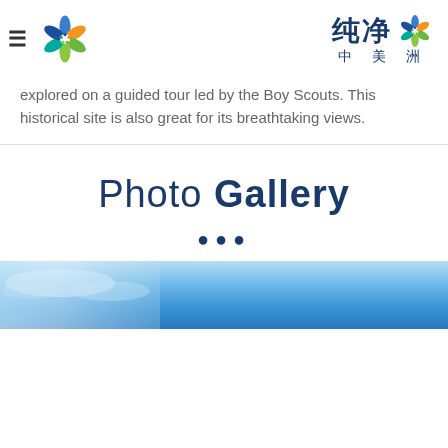纯净 中美洲 (logo and navigation header)
explored on a guided tour led by the Boy Scouts. This historical site is also great for its breathtaking views.
Photo Gallery
[Figure (photo): Blue sky/coastal photo strip at the bottom of the page]